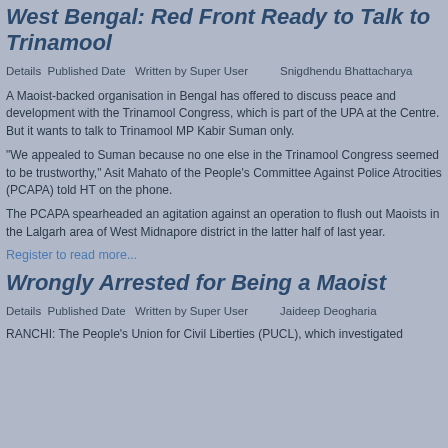West Bengal: Red Front Ready to Talk to Trinamool
Details  Published Date   Written by Super User          Snigdhendu Bhattacharya
A Maoist-backed organisation in Bengal has offered to discuss peace and development with the Trinamool Congress, which is part of the UPA at the Centre. But it wants to talk to Trinamool MP Kabir Suman only.
"We appealed to Suman because no one else in the Trinamool Congress seemed to be trustworthy," Asit Mahato of the People's Committee Against Police Atrocities (PCAPA) told HT on the phone.
The PCAPA spearheaded an agitation against an operation to flush out Maoists in the Lalgarh area of West Midnapore district in the latter half of last year.
Register to read more...
Wrongly Arrested for Being a Maoist
Details  Published Date   Written by Super User          Jaideep Deogharia
RANCHI: The People's Union for Civil Liberties (PUCL), which investigated